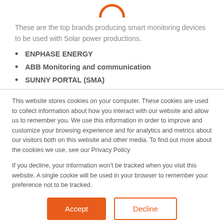[Figure (logo): Orange arc/half-circle logo at top center]
These are the top brands producing smart monitoring devices to be used with Solar power productions.
ENPHASE ENERGY
ABB Monitoring and communication
SUNNY PORTAL (SMA)
This website stores cookies on your computer. These cookies are used to collect information about how you interact with our website and allow us to remember you. We use this information in order to improve and customize your browsing experience and for analytics and metrics about our visitors both on this website and other media. To find out more about the cookies we use, see our Privacy Policy
If you decline, your information won't be tracked when you visit this website. A single cookie will be used in your browser to remember your preference not to be tracked.